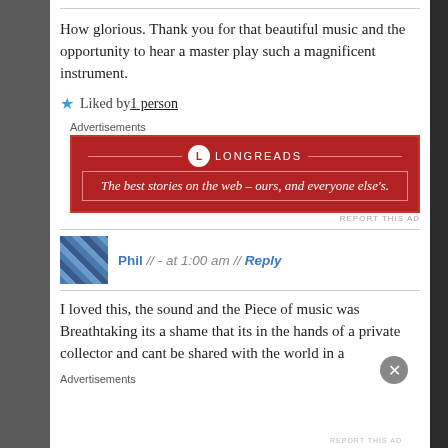How glorious. Thank you for that beautiful music and the opportunity to hear a master play such a magnificent instrument.
★ Liked by 1 person
Advertisements
[Figure (other): Longreads advertisement banner with red background. Logo circle with 'L', brand name 'LONGREADS', tagline: 'The best stories on the web – ours, and everyone else's.']
REPORT THIS AD
Phil // - at 1:00 am // Reply
I loved this, the sound and the Piece of music was Breathtaking its a shame that its in the hands of a private collector and cant be shared with the world in a
Advertisements